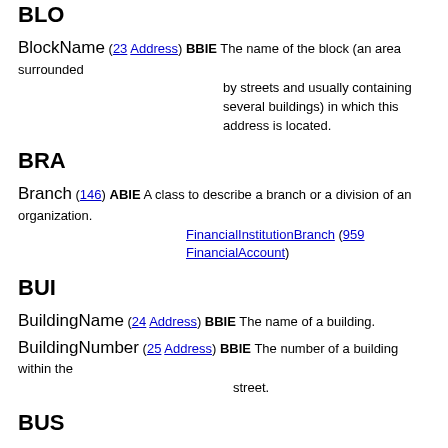BLO
BlockName (23 Address) BBIE The name of the block (an area surrounded by streets and usually containing several buildings) in which this address is located.
BRA
Branch (146) ABIE A class to describe a branch or a division of an organization. FinancialInstitutionBranch (959 FinancialAccount)
BUI
BuildingName (24 Address) BBIE The name of a building.
BuildingNumber (25 Address) BBIE The number of a building within the street.
BUS
BusinessParty (16 DigitalCapability) ASBIE (Party) The party owning these digital capabilities.